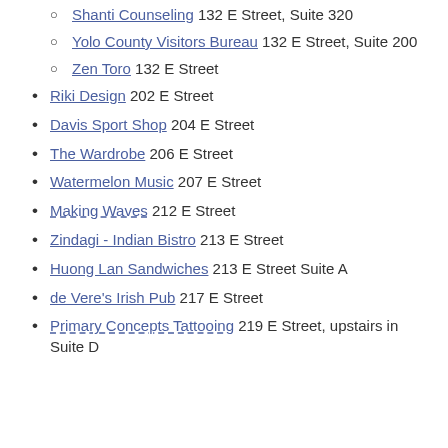Shanti Counseling 132 E Street, Suite 320
Yolo County Visitors Bureau 132 E Street, Suite 200
Zen Toro 132 E Street
Riki Design 202 E Street
Davis Sport Shop 204 E Street
The Wardrobe 206 E Street
Watermelon Music 207 E Street
Making Waves 212 E Street
Zindagi - Indian Bistro 213 E Street
Huong Lan Sandwiches 213 E Street Suite A
de Vere's Irish Pub 217 E Street
Primary Concepts Tattooing 219 E Street, upstairs in Suite D